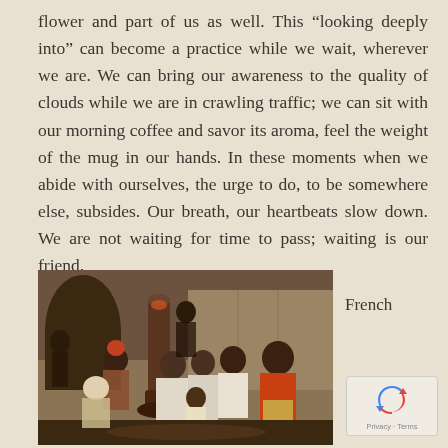flower and part of us as well. This “looking deeply into” can become a practice while we wait, wherever we are. We can bring our awareness to the quality of clouds while we are in crawling traffic; we can sit with our morning coffee and savor its aroma, feel the weight of the mug in our hands. In these moments when we abide with ourselves, the urge to do, to be somewhere else, subsides. Our breath, our heartbeats slow down. We are not waiting for time to pass; waiting is our friend.
[Figure (photo): A historical painting depicting a group of people, appearing to be of African descent, gathered in an interior setting. Several figures are seated around what appears to be a stove or heating device. The scene has warm tones typical of French genre painting.]
French
[Figure (logo): Google reCAPTCHA widget showing the reCAPTCHA icon (circular arrows) with Privacy and Terms links below.]